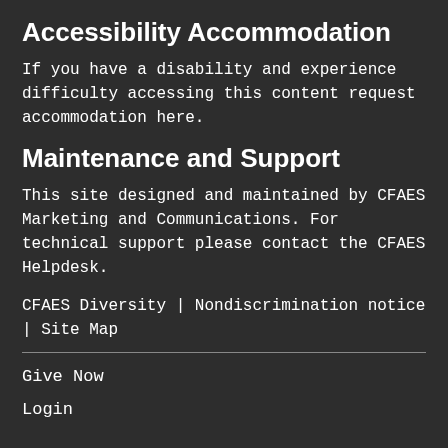Accessibility Accommodation
If you have a disability and experience difficulty accessing this content request accommodation here.
Maintenance and Support
This site designed and maintained by CFAES Marketing and Communications. For technical support please contact the CFAES Helpdesk.
CFAES Diversity  |  Nondiscrimination notice  |  Site Map
Give Now
Login